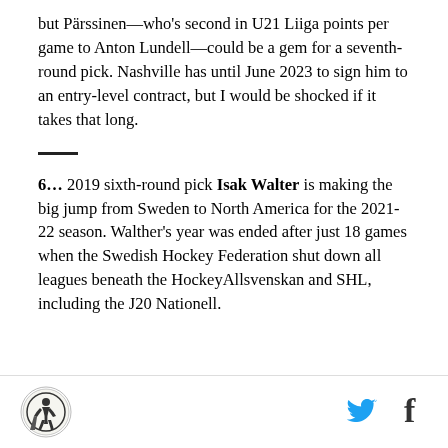but Pärssinen—who's second in U21 Liiga points per game to Anton Lundell—could be a gem for a seventh-round pick. Nashville has until June 2023 to sign him to an entry-level contract, but I would be shocked if it takes that long.
6... 2019 sixth-round pick Isak Walter is making the big jump from Sweden to North America for the 2021-22 season. Walther's year was ended after just 18 games when the Swedish Hockey Federation shut down all leagues beneath the HockeyAllsvenskan and SHL, including the J20 Nationell.
[Figure (logo): Sports publication logo - circular emblem with hockey player imagery]
[Figure (logo): Twitter bird icon in blue]
[Figure (logo): Facebook 'f' icon in dark color]